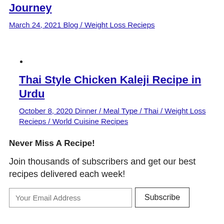Journey
March 24, 2021 Blog / Weight Loss Recieps
Thai Style Chicken Kaleji Recipe in Urdu
October 8, 2020 Dinner / Meal Type / Thai / Weight Loss Recieps / World Cuisine Recipes
Never Miss A Recipe!
Join thousands of subscribers and get our best recipes delivered each week!
Your Email Address  Subscribe